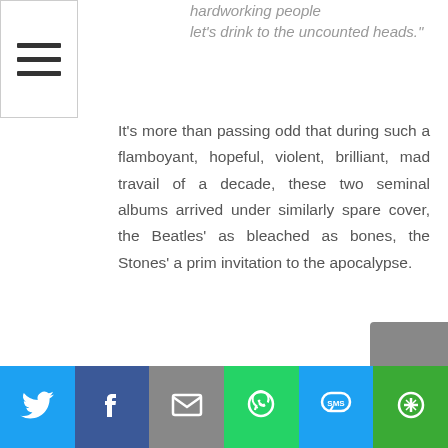hardworking people let's drink to the uncounted heads."
It's more than passing odd that during such a flamboyant, hopeful, violent, brilliant, mad travail of a decade, these two seminal albums arrived under similarly spare cover, the Beatles' as bleached as bones, the Stones' a prim invitation to the apocalypse.
[Figure (infographic): Social media share bar at bottom with Twitter (blue), Facebook (dark blue), Email (grey), WhatsApp (green), SMS (blue), and More (green) buttons with corresponding icons.]